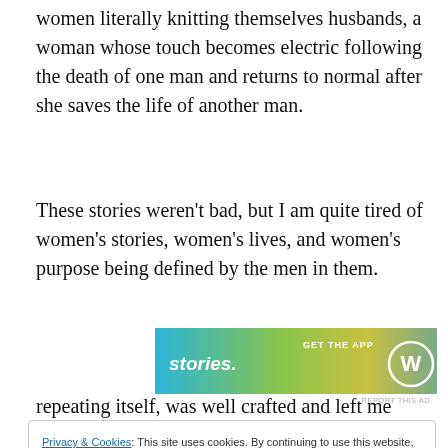women literally knitting themselves husbands, a woman whose touch becomes electric following the death of one man and returns to normal after she saves the life of another man.
These stories weren't bad, but I am quite tired of women's stories, women's lives, and women's purpose being defined by the men in them.
[Figure (screenshot): Advertisement banner with gradient background (teal to yellow-green), text 'stories.' in white, 'GET THE APP' text and a WordPress-style circular logo on the right side. 'REPORT THIS AD' text below right.]
Privacy & Cookies: This site uses cookies. By continuing to use this website, you agree to their use.
To find out more, including how to control cookies, see here: Cookie Policy
repeating itself, was well crafted and left me with strong